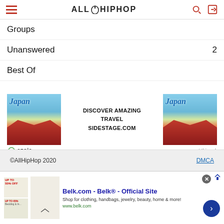AllHipHop
Groups
Unanswered  2
Best Of
[Figure (other): Advertisement banner for Japan travel - Sidestage.com with ezoic label]
©AllHipHop 2020   DMCA
[Figure (other): Bottom advertisement for Belk.com - Official Site. Shop for clothing, handbags, jewelry, beauty, home & more! www.belk.com]